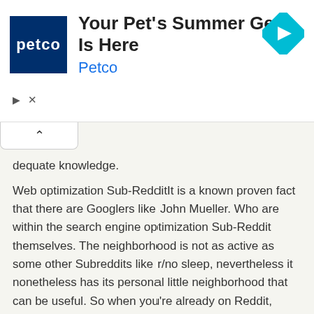[Figure (screenshot): Petco advertisement banner with logo, text 'Your Pet's Summer Gear Is Here', 'Petco' subtitle, blue navigation icon, play button and close button]
dequate knowledge.
Web optimization Sub-RedditIt is a known proven fact that there are Googlers like John Mueller. Who are within the search engine optimization Sub-Reddit themselves. The neighborhood is not as active as some other Subreddits like r/no sleep, nevertheless it nonetheless has its personal little neighborhood that can be useful. So when you're already on Reddit, simply follow the sub. Catch up on some useful posts once in a while. Although we're not as popular as the larger players listed above. Our weblog is definitely a supply you'll be able to rely on.
Why are we going via such a detailed introduction of keywords?
This doesn't have anything to do with content or links, and is highly technical in its implementation. If you can think of